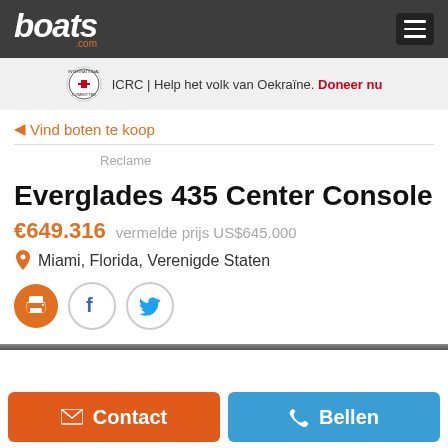boats.com
ICRC | Help het volk van Oekraïne. Doneer nu
◄ Vind boten te koop
Reclame
Everglades 435 Center Console
€649.316   vermelde prijs US$645.000
Miami, Florida, Verenigde Staten
Contact   Bellen